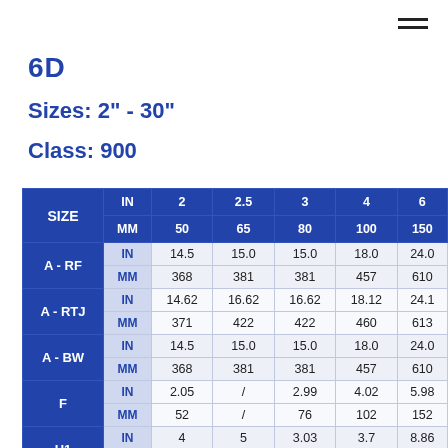6D
Sizes: 2" - 30"
Class: 900
| SIZE | IN/MM | 2 / 50 | 2.5 / 65 | 3 / 80 | 4 / 100 | 6 / 150 |
| --- | --- | --- | --- | --- | --- | --- |
| A - RF | IN | 14.5 | 15.0 | 15.0 | 18.0 | 24.0 |
| A - RF | MM | 368 | 381 | 381 | 457 | 610 |
| A - RTJ | IN | 14.62 | 16.62 | 16.62 | 18.12 | 24.1 |
| A - RTJ | MM | 371 | 422 | 422 | 460 | 613 |
| A - BW | IN | 14.5 | 15.0 | 15.0 | 18.0 | 24.0 |
| A - BW | MM | 368 | 381 | 381 | 457 | 610 |
| F | IN | 2.05 | / | 2.99 | 4.02 | 5.98 |
| F | MM | 52 | / | 76 | 102 | 152 |
| H1 | IN | 4 | 5 | 3.03 | 3.7 | 8.86 |
| H1 | MM | 61 | 127 | 77 | 94 | 225 |